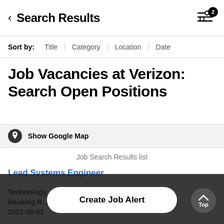Search Results
Sort by: Title | Category | Location | Date
Job Vacancies at Verizon: Search Open Positions
Show Google Map
Job Search Results list
Lead Systems Engineer
Technology
Basking R...
2022-08-01
Create Job Alert